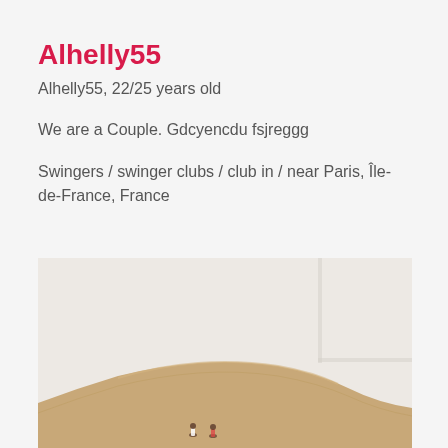Alhelly55
Alhelly55, 22/25 years old
We are a Couple. Gdcyencdu fsjreggg
Swingers / swinger clubs / club in / near Paris, Île-de-France, France
[Figure (photo): Photo of two people on sand dunes in a desert landscape with light beige/cream sky background]